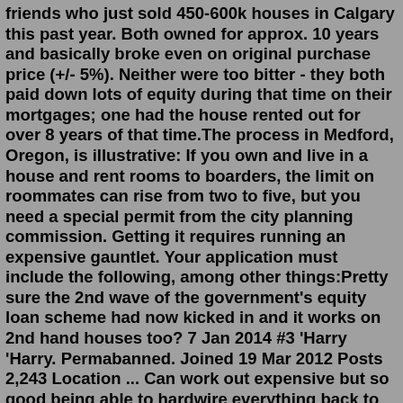friends who just sold 450-600k houses in Calgary this past year. Both owned for approx. 10 years and basically broke even on original purchase price (+/- 5%). Neither were too bitter - they both paid down lots of equity during that time on their mortgages; one had the house rented out for over 8 years of that time.The process in Medford, Oregon, is illustrative: If you own and live in a house and rent rooms to boarders, the limit on roommates can rise from two to five, but you need a special permit from the city planning commission. Getting it requires running an expensive gauntlet. Your application must include the following, among other things:Pretty sure the 2nd wave of the government's equity loan scheme had now kicked in and it works on 2nd hand houses too? 7 Jan 2014 #3 'Harry 'Harry. Permabanned. Joined 19 Mar 2012 Posts 2,243 Location ... Can work out expensive but so good being able to hardwire everything back to my router/switch in the cupboard. ... Reddit Pinterest Tumblr ...The secret is the same as